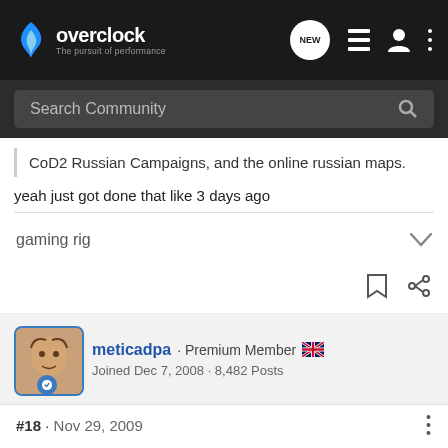overclock · The pursuit of performance
Search Community
CoD2 Russian Campaigns, and the online russian maps.
yeah just got done that like 3 days ago
gaming rig
meticadpa · Premium Member
Joined Dec 7, 2008 · 8,482 Posts
#18 · Nov 29, 2009
☐Yes, Crysostasis really is that bad. :|